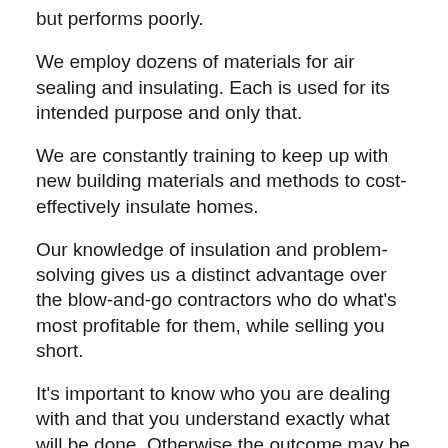but performs poorly.
We employ dozens of materials for air sealing and insulating. Each is used for its intended purpose and only that.
We are constantly training to keep up with new building materials and methods to cost-effectively insulate homes.
Our knowledge of insulation and problem-solving gives us a distinct advantage over the blow-and-go contractors who do what's most profitable for them, while selling you short.
It's important to know who you are dealing with and that you understand exactly what will be done. Otherwise the outcome may be very different than what you expect.